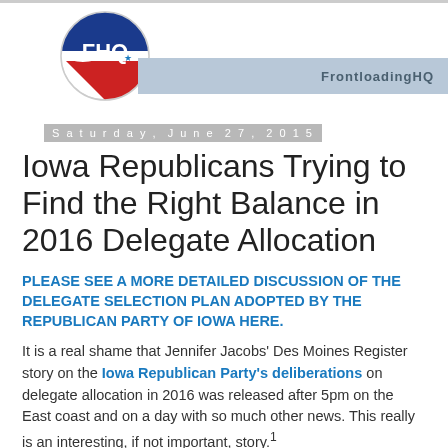[Figure (logo): FrontloadingHQ logo — circular badge with blue top half, red bottom half, white text 'FHQ' with a star, on white background. To the right a light blue-gray banner reads 'FrontloadingHQ'.]
Saturday, June 27, 2015
Iowa Republicans Trying to Find the Right Balance in 2016 Delegate Allocation
PLEASE SEE A MORE DETAILED DISCUSSION OF THE DELEGATE SELECTION PLAN ADOPTED BY THE REPUBLICAN PARTY OF IOWA HERE.
It is a real shame that Jennifer Jacobs' Des Moines Register story on the Iowa Republican Party's deliberations on delegate allocation in 2016 was released after 5pm on the East coast and on a day with so much other news. This really is an interesting, if not important, story.1